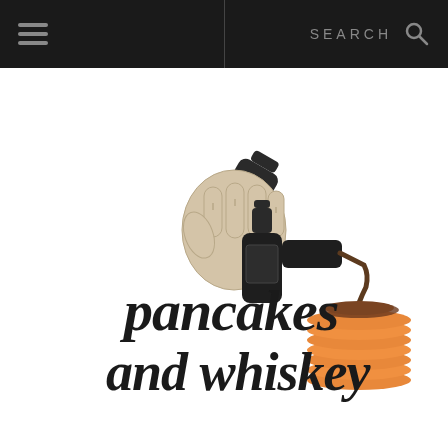SEARCH
[Figure (logo): Pancakes and Whiskey logo: a hand gripping a whiskey bottle pouring liquid onto a stack of pancakes, with stylized script text reading 'pancakes and whiskey']